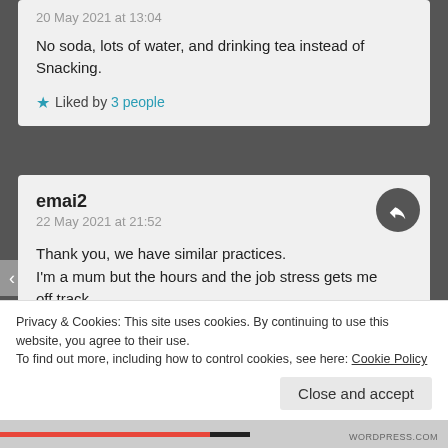20 May 2021 at 13:04
No soda, lots of water, and drinking tea instead of Snacking.
★ Liked by 3 people
emai2
22 May 2021 at 21:52
Thank you, we have similar practices.
I'm a mum but the hours and the job stress gets me off track.
Privacy & Cookies: This site uses cookies. By continuing to use this website, you agree to their use.
To find out more, including how to control cookies, see here: Cookie Policy
Close and accept